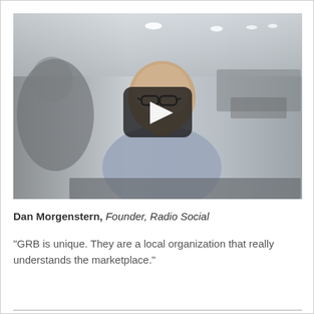[Figure (photo): Video thumbnail showing a bald man wearing glasses and a light blue shirt, seated in what appears to be a modern office or showroom setting, with a play button overlay in the center.]
Dan Morgenstern, Founder, Radio Social
"GRB is unique. They are a local organization that really understands the marketplace."